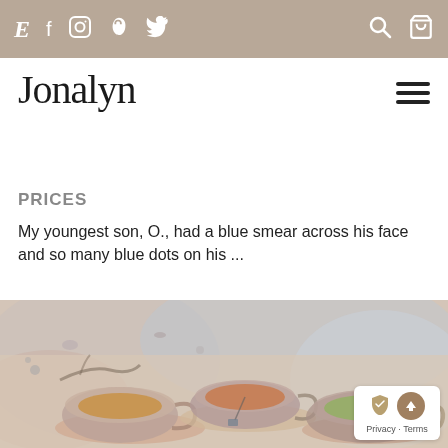E f [instagram] P [twitter] [search] [cart]
Jonalyn
PRICES
My youngest son, O., had a blue smear across his face and so many blue dots on his ...
[Figure (photo): Watercolor painting of three teacups on saucers arranged on a table, rendered in soft blues, pinks, and earth tones.]